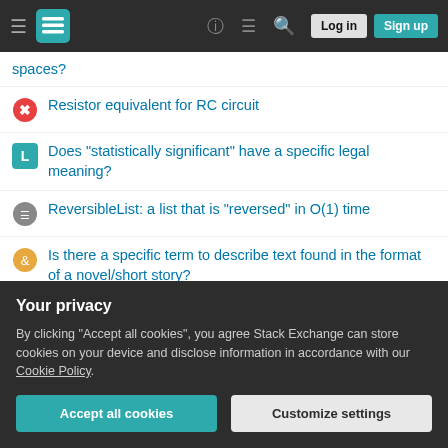Stack Exchange navigation bar with hamburger menu, logo, help, chat, search icons, Log in and Sign up buttons
spaces?
Resistor equivalent for RC circuit
Does "statistically significant" have a specific legal meaning?
ReversibleList: a list that is "reversed" in O(1) time
Is there a specific term to describe text found in the format of a novel/short story?
Should I cite the paper from which I got the research question in my own paper?
Would hoofed creatures bother with sails on their ships?
Why is the hot part of Webb's MIRI cryocooler in the 300K area?
What is the...
Your privacy
By clicking "Accept all cookies", you agree Stack Exchange can store cookies on your device and disclose information in accordance with our Cookie Policy.
Accept all cookies   Customize settings